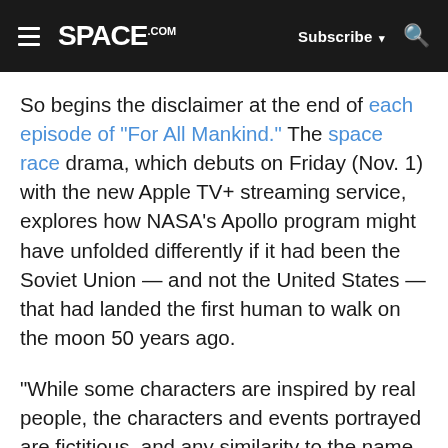SPACE.com — Subscribe — Search
So begins the disclaimer at the end of each episode of "For All Mankind." The space race drama, which debuts on Friday (Nov. 1) with the new Apple TV+ streaming service, explores how NASA's Apollo program might have unfolded differently if it had been the Soviet Union — and not the United States — that had landed the first human to walk on the moon 50 years ago.
"While some characters are inspired by real people, the characters and events portrayed are fictitious, and any similarity to the name, character or history of any person is entirely for dramatic purposes and not intended to reflect on any actual character, entity, name or history."